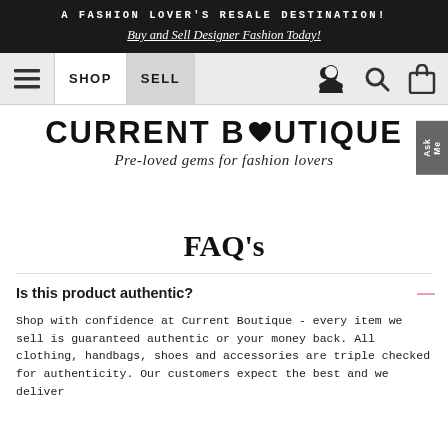A FASHION LOVER'S RESALE DESTINATION! Buy and Sell Designer Fashion Today!
[Figure (screenshot): Navigation bar with hamburger menu, SHOP and SELL buttons, and icons for account, search, and cart]
[Figure (logo): Current Boutique logo with heart icon in the 'O' of BOUTIQUE and tagline 'Pre-loved gems for fashion lovers']
FAQ's
Is this product authentic?
Shop with confidence at Current Boutique - every item we sell is guaranteed authentic or your money back. All clothing, handbags, shoes and accessories are triple checked for authenticity. Our customers expect the best and we deliver